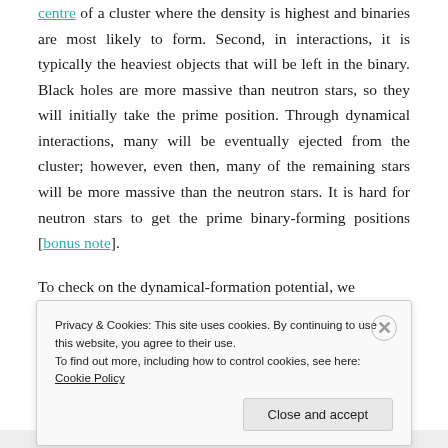centre of a cluster where the density is highest and binaries are most likely to form. Second, in interactions, it is typically the heaviest objects that will be left in the binary. Black holes are more massive than neutron stars, so they will initially take the prime position. Through dynamical interactions, many will be eventually ejected from the cluster; however, even then, many of the remaining stars will be more massive than the neutron stars. It is hard for neutron stars to get the prime binary-forming positions [bonus note].
To check on the dynamical-formation potential, we
Privacy & Cookies: This site uses cookies. By continuing to use this website, you agree to their use.
To find out more, including how to control cookies, see here: Cookie Policy
Close and accept